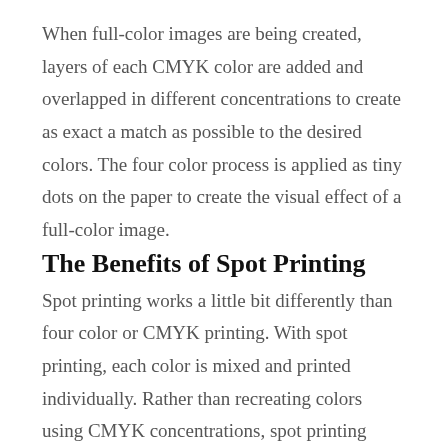When full-color images are being created, layers of each CMYK color are added and overlapped in different concentrations to create as exact a match as possible to the desired colors. The four color process is applied as tiny dots on the paper to create the visual effect of a full-color image.
The Benefits of Spot Printing
Spot printing works a little bit differently than four color or CMYK printing. With spot printing, each color is mixed and printed individually. Rather than recreating colors using CMYK concentrations, spot printing utilizes exact